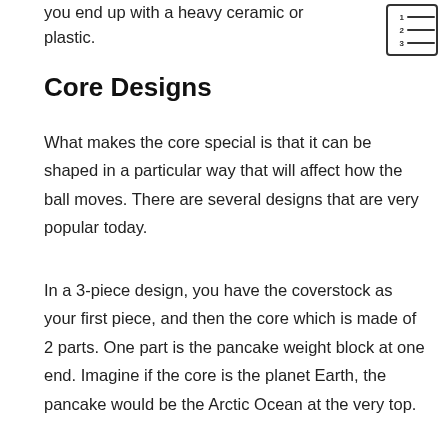you end up with a heavy ceramic or plastic.
[Figure (other): Numbered list icon with lines representing a list]
Core Designs
What makes the core special is that it can be shaped in a particular way that will affect how the ball moves. There are several designs that are very popular today.
In a 3-piece design, you have the coverstock as your first piece, and then the core which is made of 2 parts. One part is the pancake weight block at one end. Imagine if the core is the planet Earth, the pancake would be the Arctic Ocean at the very top.